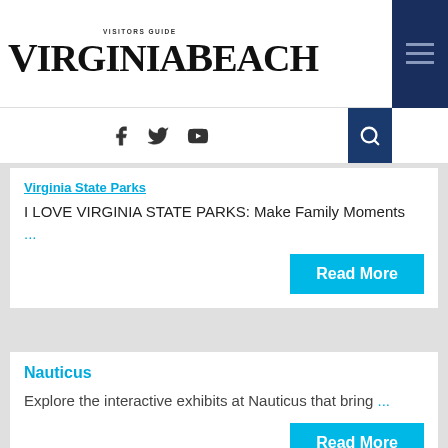Virginia Beach Visitors Guide
Virginia State Parks
I LOVE VIRGINIA STATE PARKS: Make Family Moments ...
Read More
Nauticus
Explore the interactive exhibits at Nauticus that bring ...
Read More